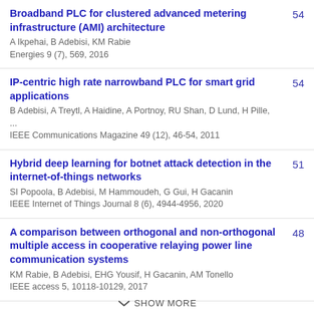Broadband PLC for clustered advanced metering infrastructure (AMI) architecture
A Ikpehai, B Adebisi, KM Rabie
Energies 9 (7), 569, 2016
54
IP-centric high rate narrowband PLC for smart grid applications
B Adebisi, A Treytl, A Haidine, A Portnoy, RU Shan, D Lund, H Pille, ...
IEEE Communications Magazine 49 (12), 46-54, 2011
54
Hybrid deep learning for botnet attack detection in the internet-of-things networks
SI Popoola, B Adebisi, M Hammoudeh, G Gui, H Gacanin
IEEE Internet of Things Journal 8 (6), 4944-4956, 2020
51
A comparison between orthogonal and non-orthogonal multiple access in cooperative relaying power line communication systems
KM Rabie, B Adebisi, EHG Yousif, H Gacanin, AM Tonello
IEEE access 5, 10118-10129, 2017
48
SHOW MORE